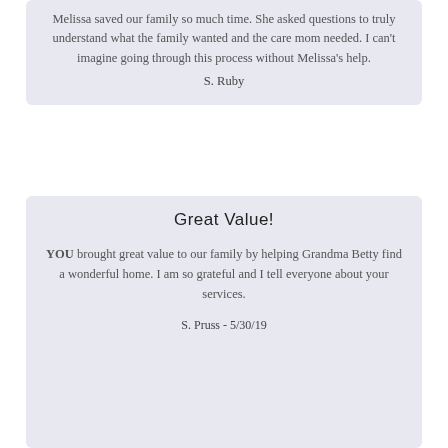Melissa saved our family so much time. She asked questions to truly understand what the family wanted and the care mom needed. I can't imagine going through this process without Melissa's help. S. Ruby
Great Value!
YOU brought great value to our family by helping Grandma Betty find a wonderful home. I am so grateful and I tell everyone about your services. S. Pruss - 5/30/19